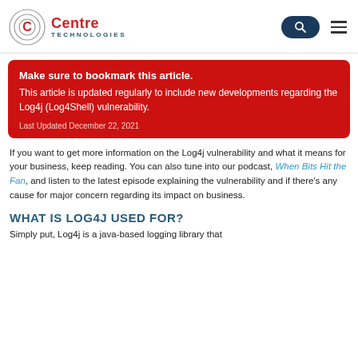Centre Technologies
Make sure to bookmark this article. This article is updated regularly to include new developments regarding the Log4j (Log4Shell) vulnerability. Last Updated December 22, 2021
If you want to get more information on the Log4j vulnerability and what it means for your business, keep reading. You can also tune into our podcast, When Bits Hit the Fan, and listen to the latest episode explaining the vulnerability and if there's any cause for major concern regarding its impact on business.
WHAT IS LOG4J USED FOR?
Simply put, Log4j is a java-based logging library that